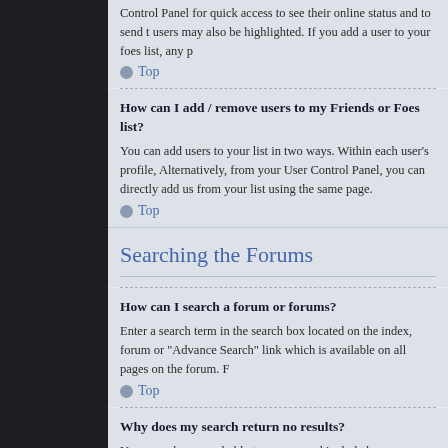Control Panel for quick access to see their online status and to send users may also be highlighted. If you add a user to your foes list, any p
Top
How can I add / remove users to my Friends or Foes list?
You can add users to your list in two ways. Within each user's profile, Alternatively, from your User Control Panel, you can directly add us from your list using the same page.
Top
Searching the Forums
How can I search a forum or forums?
Enter a search term in the search box located on the index, forum or "Advance Search" link which is available on all pages on the forum. H
Top
Why does my search return no results?
Your search was probably too vague and included many common ter options available within Advanced search.
Top